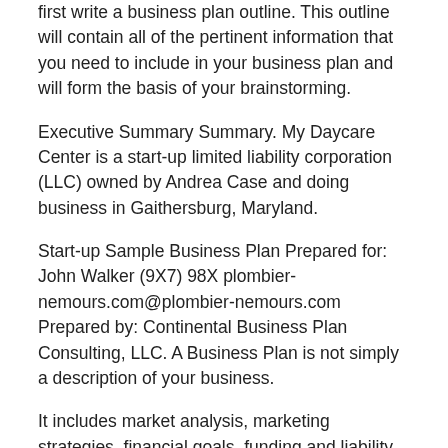first write a business plan outline. This outline will contain all of the pertinent information that you need to include in your business plan and will form the basis of your brainstorming.
Executive Summary Summary. My Daycare Center is a start-up limited liability corporation (LLC) owned by Andrea Case and doing business in Gaithersburg, Maryland.
Start-up Sample Business Plan Prepared for: John Walker (9X7) 98X plombier-nemours.com@plombier-nemours.com Prepared by: Continental Business Plan Consulting, LLC. A Business Plan is not simply a description of your business.
It includes market analysis, marketing strategies, financial goals, funding and liability information, and company structure details. What this means is that you'll need to do a bit of work before writing to be able to create a comprehensive plan.